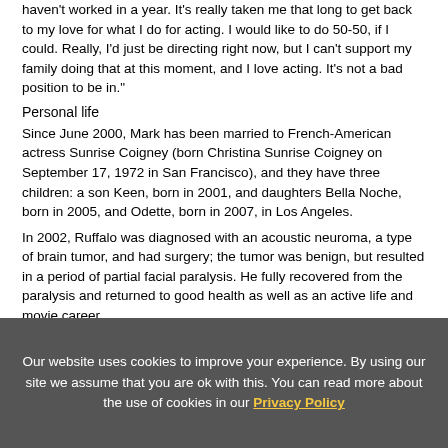haven't worked in a year. It's really taken me that long to get back to my love for what I do for acting. I would like to do 50-50, if I could. Really, I'd just be directing right now, but I can't support my family doing that at this moment, and I love acting. It's not a bad position to be in."
Personal life
Since June 2000, Mark has been married to French-American actress Sunrise Coigney (born Christina Sunrise Coigney on September 17, 1972 in San Francisco), and they have three children: a son Keen, born in 2001, and daughters Bella Noche, born in 2005, and Odette, born in 2007, in Los Angeles.
In 2002, Ruffalo was diagnosed with an acoustic neuroma, a type of brain tumor, and had surgery; the tumor was benign, but resulted in a period of partial facial paralysis. He fully recovered from the paralysis and returned to good health as well as an active life and movie career.
On December 1, 2008, Ruffalo's brother, Scott, was shot at his Beverly Hills condominium, with one report describing the shooting
Our website uses cookies to improve your experience. By using our site we assume that you are ok with this. You can read more about the use of cookies in our Privacy Policy